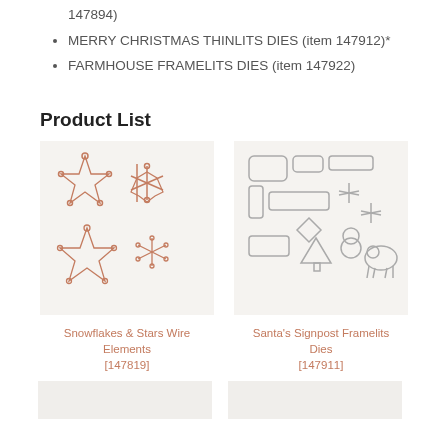147894)
MERRY CHRISTMAS THINLITS DIES (item 147912)*
FARMHOUSE FRAMELITS DIES (item 147922)
Product List
[Figure (photo): Snowflakes and stars wire die cut elements in rose gold/copper color]
[Figure (photo): Santa's Signpost Framelits Dies showing various Christmas-themed die shapes in grey]
Snowflakes & Stars Wire Elements
[147819]
Santa's Signpost Framelits Dies
[147911]